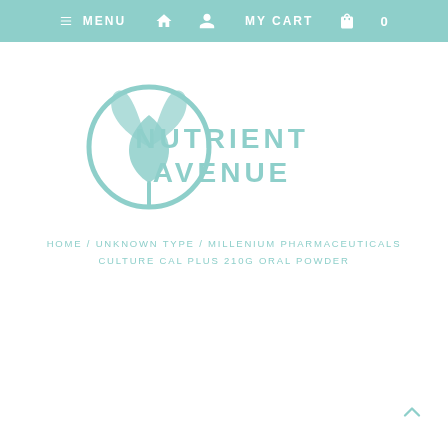MENU  MY CART  0
[Figure (logo): Nutrient Avenue logo with leaf/plant icon in teal and text NUTRIENT AVENUE]
HOME / UNKNOWN TYPE / MILLENIUM PHARMACEUTICALS CULTURE CAL PLUS 210G ORAL POWDER